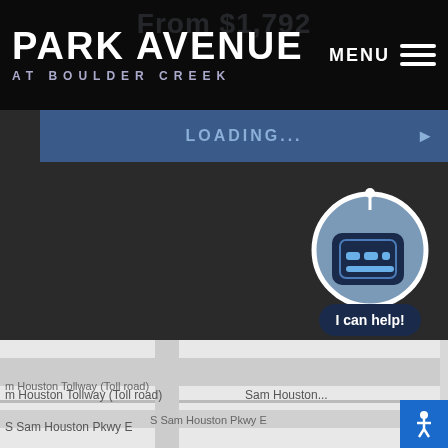From $1,792
[Figure (logo): Park Avenue at Boulder Creek logo — bold white uppercase text 'PARK AVENUE' with subtitle 'AT BOULDER CREEK' in spaced caps]
MENU
LOADING...
[Figure (map): Street map showing Sam Houston Tollway (Toll road), S Sam Houston Pkwy E roads in Houston area]
[Figure (other): Chatbot robot icon in circular frame with 'I can help!' speech bubble]
[Figure (other): Accessibility icon button (blue square, bottom right)]